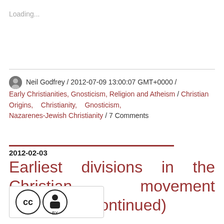Loading...
Neil Godfrey / 2012-07-09 13:00:07 GMT+0000 / Early Christianities, Gnosticism, Religion and Atheism / Christian Origins, Christianity, Gnosticism, Nazarenes-Jewish Christianity / 7 Comments
2012-02-03
Earliest divisions in the Christian movement (Couchoud continued)
[Figure (logo): Creative Commons BY license badge]